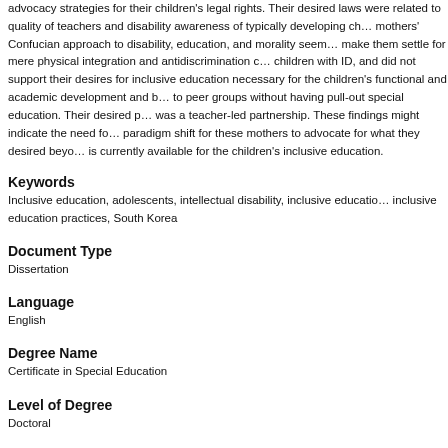advocacy strategies for their children's legal rights. Their desired laws were related to quality of teachers and disability awareness of typically developing children. The mothers' Confucian approach to disability, education, and morality seemed to make them settle for mere physical integration and antidiscrimination of children with ID, and did not support their desires for inclusive education necessary for the children's functional and academic development and belonging to peer groups without having pull-out special education. Their desired partnership was a teacher-led partnership. These findings might indicate the need for a paradigm shift for these mothers to advocate for what they desired beyond what is currently available for the children's inclusive education.
Keywords
Inclusive education, adolescents, intellectual disability, inclusive education, inclusive education practices, South Korea
Document Type
Dissertation
Language
English
Degree Name
Certificate in Special Education
Level of Degree
Doctoral